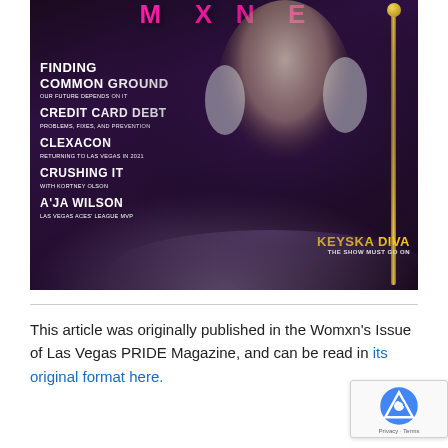[Figure (photo): Magazine cover of Las Vegas PRIDE Magazine (Womxn's Issue). Dark purple/black background with a performer in a white and black patterned dress with tinsel/feather accents on sleeves and collar. Left side lists article headlines in white bold text. Bottom right shows 'KEYSKA DIVA / THE SHOW MUST GO ON' in gold/yellow text. A gold velvet rope pole is visible on the right. The magazine title is in pink at the top (partially cropped).]
This article was originally published in the Womxn's Issue of Las Vegas PRIDE Magazine, and can be read in its original format here.